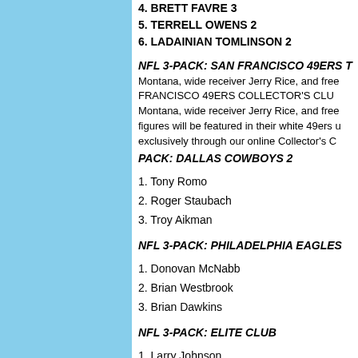4. BRETT FAVRE 3
5. TERRELL OWENS 2
6. LADAINIAN TOMLINSON 2
NFL 3-PACK: SAN FRANCISCO 49ERS T
Montana, wide receiver Jerry Rice, and free FRANCISCO 49ERS COLLECTOR'S CLU Montana, wide receiver Jerry Rice, and free figures will be featured in their white 49ers u exclusively through our online Collector's C
PACK: DALLAS COWBOYS 2
1. Tony Romo
2. Roger Staubach
3. Troy Aikman
NFL 3-PACK: PHILADELPHIA EAGLES
1. Donovan McNabb
2. Brian Westbrook
3. Brian Dawkins
NFL 3-PACK: ELITE CLUB
1. Larry Johnson
2. Shaun Alexander
3. LaDainian Tomlinson
BRIAN URLACHER COLLECTOR'S EDITI